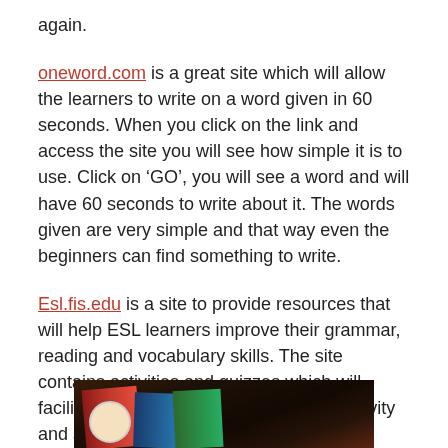again.
oneword.com is a great site which will allow the learners to write on a word given in 60 seconds. When you click on the link and access the site you will see how simple it is to use. Click on ‘GO’, you will see a word and will have 60 seconds to write about it. The words given are very simple and that way even the beginners can find something to write.
Esl.fis.edu is a site to provide resources that will help ESL learners improve their grammar, reading and vocabulary skills. The site contains activities and quizzes which will facilitate learning. You can choose an activity and start doing and you get immediate feedback.
[Figure (photo): Photo of books on a shelf or table, dark background, partially visible]